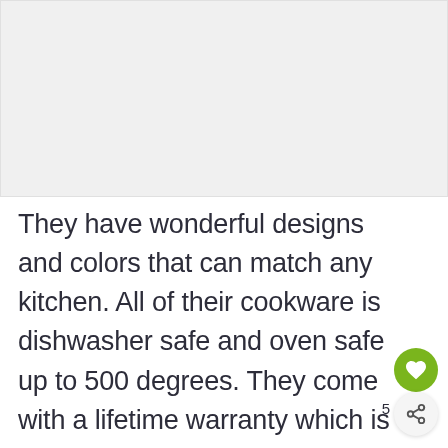[Figure (photo): Blank light gray image area at top of page]
They have wonderful designs and colors that can match any kitchen. All of their cookware is dishwasher safe and oven safe up to 500 degrees. They come with a lifetime warranty which is another big plus. The only downside to these skillets is that they can be expensive.